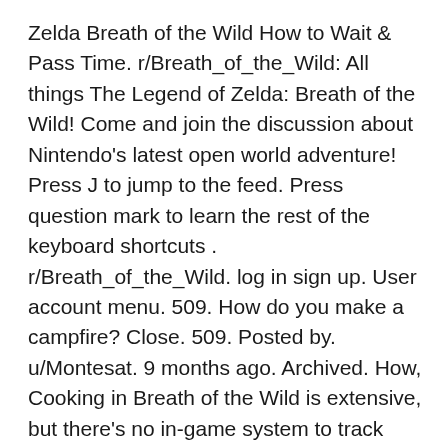Zelda Breath of the Wild How to Wait & Pass Time. r/Breath_of_the_Wild: All things The Legend of Zelda: Breath of the Wild! Come and join the discussion about Nintendo's latest open world adventure! Press J to jump to the feed. Press question mark to learn the rest of the keyboard shortcuts . r/Breath_of_the_Wild. log in sign up. User account menu. 509. How do you make a campfire? Close. 509. Posted by. u/Montesat. 9 months ago. Archived. How, Cooking in Breath of the Wild is extensive, but there's no in-game system to track recipes. You can find Breath of the Wild (BOTW) recipes throughout Hyrule on banners and learn them from various.